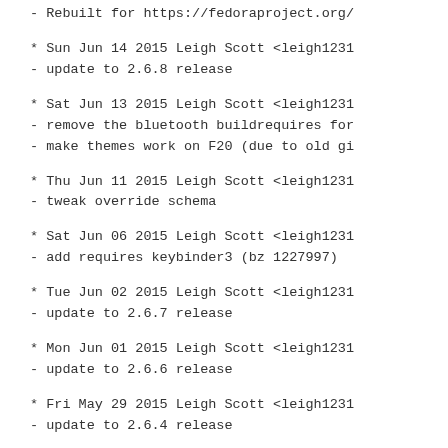- Rebuilt for https://fedoraproject.org/
* Sun Jun 14 2015 Leigh Scott <leigh1231
- update to 2.6.8 release
* Sat Jun 13 2015 Leigh Scott <leigh1231
- remove the bluetooth buildrequires for
- make themes work on F20 (due to old gi
* Thu Jun 11 2015 Leigh Scott <leigh1231
- tweak override schema
* Sat Jun 06 2015 Leigh Scott <leigh1231
- add requires keybinder3 (bz 1227997)
* Tue Jun 02 2015 Leigh Scott <leigh1231
- update to 2.6.7 release
* Mon Jun 01 2015 Leigh Scott <leigh1231
- update to 2.6.6 release
* Fri May 29 2015 Leigh Scott <leigh1231
- update to 2.6.4 release